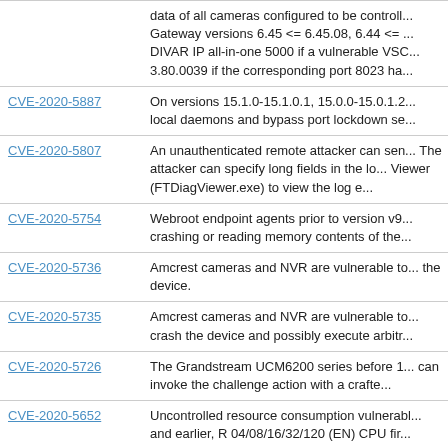| CVE ID | Description |
| --- | --- |
|  | data of all cameras configured to be controll... Gateway versions 6.45 <= 6.45.08, 6.44 <= ... DIVAR IP all-in-one 5000 if a vulnerable VSC... 3.80.0039 if the corresponding port 8023 has... |
| CVE-2020-5887 | On versions 15.1.0-15.1.0.1, 15.0.0-15.0.1.2... local daemons and bypass port lockdown se... |
| CVE-2020-5807 | An unauthenticated remote attacker can sen... The attacker can specify long fields in the lo... Viewer (FTDiagViewer.exe) to view the log e... |
| CVE-2020-5754 | Webroot endpoint agents prior to version v9... crashing or reading memory contents of the... |
| CVE-2020-5736 | Amcrest cameras and NVR are vulnerable to... the device. |
| CVE-2020-5735 | Amcrest cameras and NVR are vulnerable to... crash the device and possibly execute arbitr... |
| CVE-2020-5726 | The Grandstream UCM6200 series before 1... can invoke the challenge action with a crafte... |
| CVE-2020-5652 | Uncontrolled resource consumption vulnerabl... and earlier, R 04/08/16/32/120 (EN) CPU fir... PCPU all versions, R 08/16/32/120 PSFCPU... number '22081' and earlier , Q 03/04/06/13/2... 172/173 DCPU all versions, Q 172/173 DSC... (P) BT all versions) allows a remote unauthenticated... which may lead to a denial of service (DoS) |
| CVE-2020-5531 | Mitsubishi Electric MELSEC C Controller Mo... |